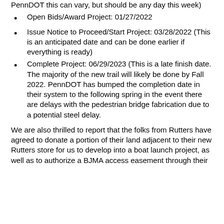PennDOT this can vary, but should be any day this week)
Open Bids/Award Project: 01/27/2022
Issue Notice to Proceed/Start Project: 03/28/2022 (This is an anticipated date and can be done earlier if everything is ready)
Complete Project: 06/29/2023 (This is a late finish date. The majority of the new trail will likely be done by Fall 2022. PennDOT has bumped the completion date in their system to the following spring in the event there are delays with the pedestrian bridge fabrication due to a potential steel delay.
We are also thrilled to report that the folks from Rutters have agreed to donate a portion of their land adjacent to their new Rutters store for us to develop into a boat launch project, as well as to authorize a BJMA access easement through their